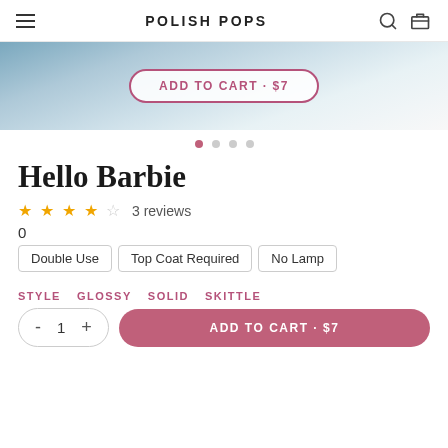POLISH POPS
[Figure (screenshot): Product hero image area with blue-grey gradient background and an ADD TO CART · $7 button overlaid]
• · · ·
Hello Barbie
★★★★☆ 3 reviews
0
Double Use
Top Coat Required
No Lamp
STYLE  GLOSSY  SOLID  SKITTLE
- 1 +  ADD TO CART · $7